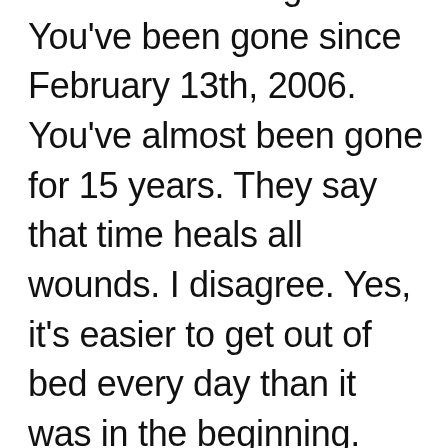like this for a long time. You've been gone since February 13th, 2006. You've almost been gone for 15 years. They say that time heals all wounds. I disagree. Yes, it's easier to get out of bed every day than it was in the beginning. Yes I have continued to live my life. That doesn't change the fact that my heart